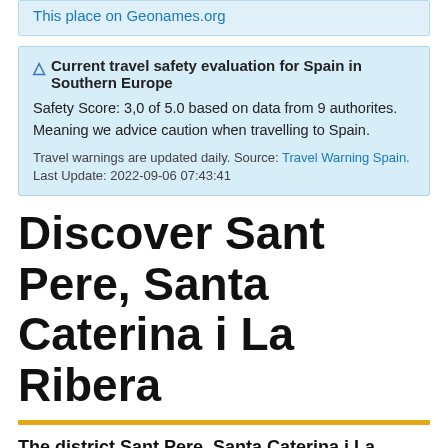This place on Geonames.org
⚠ Current travel safety evaluation for Spain in Southern Europe
Safety Score: 3,0 of 5.0 based on data from 9 authorites. Meaning we advice caution when travelling to Spain.
Travel warnings are updated daily. Source: Travel Warning Spain.
Last Update: 2022-09-06 07:43:41
Discover Sant Pere, Santa Caterina i La Ribera
The district Sant Pere, Santa Caterina i La Ribera of